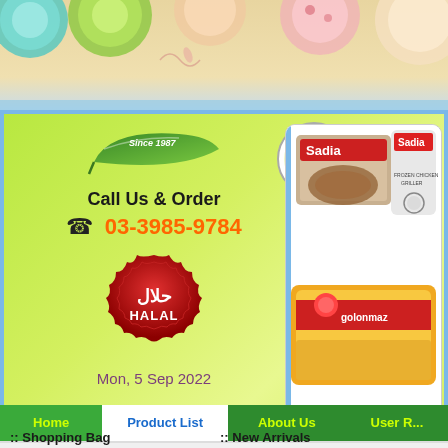[Figure (illustration): Top decorative banner with colorful circular patterns, plates and food items on a light background]
[Figure (logo): Green leaf logo with text 'Since 1987']
[Figure (logo): Al-Flah circular logo with Arabic text and 'AL-FLAH' text, with 'Al-' company name and 'Pioneer' tagline on right]
Call Us & Order
☎ 03-3985-9784
[Figure (illustration): Red halal badge/emblem with Arabic text for halal and 'HALAL' in English]
Mon, 5 Sep 2022
[Figure (photo): Product images showing Sadia branded chicken packages and another chicken product package]
Home
Product List
About Us
User R...
:: Shopping Bag
:: New Arrivals